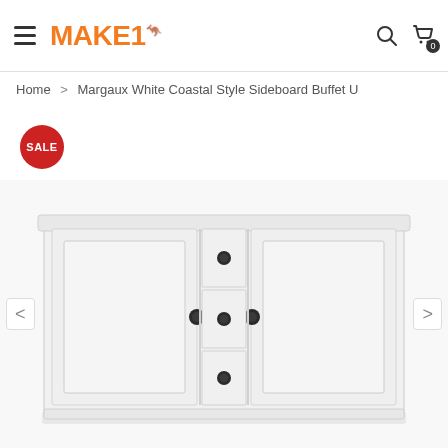MAKE1 — navigation header with hamburger menu, logo, search icon, and cart icon (0 items)
Home > Margaux White Coastal Style Sideboard Buffet U
SALE
[Figure (photo): White coastal style sideboard buffet cabinet with two side cabinet doors and three center drawers, all with black round knobs. The furniture is white with a clean shaker-panel style. Navigation arrows (< >) appear on the left and right sides of the image.]